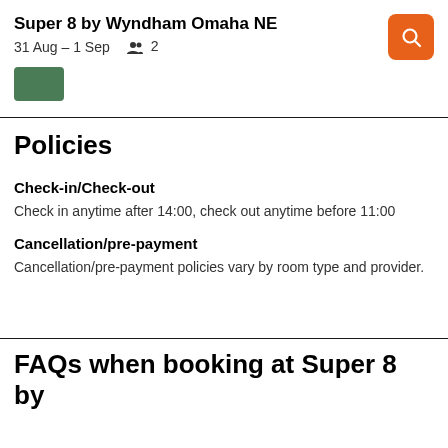Super 8 by Wyndham Omaha NE
31 Aug – 1 Sep   2
Policies
Check-in/Check-out
Check in anytime after 14:00, check out anytime before 11:00
Cancellation/pre-payment
Cancellation/pre-payment policies vary by room type and provider.
FAQs when booking at Super 8 by